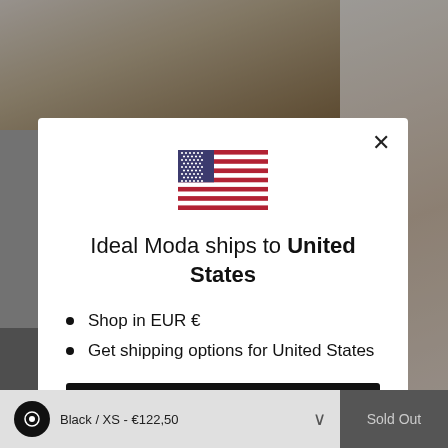[Figure (screenshot): Background showing fashion e-commerce product images of clothing models, partially obscured by modal overlay]
[Figure (illustration): United States flag icon shown centered in modal dialog]
Ideal Moda ships to United States
Shop in EUR €
Get shipping options for United States
Shop now
Change shipping country
Black / XS - €122,50
Sold Out